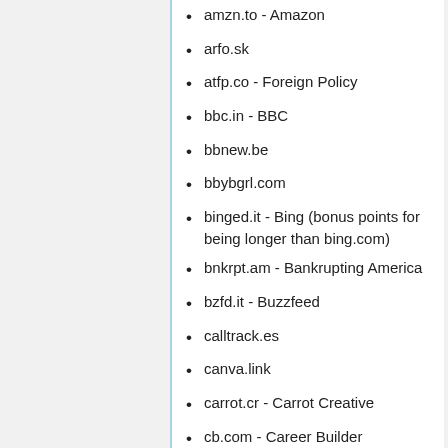amzn.to - Amazon
arfo.sk
atfp.co - Foreign Policy
bbc.in - BBC
bbnew.be
bbybgrl.com
binged.it - Bing (bonus points for being longer than bing.com)
bnkrpt.am - Bankrupting America
bzfd.it - Buzzfeed
calltrack.es
canva.link
carrot.cr - Carrot Creative
cb.com - Career Builder
chzb.gr - Cheezeburger
cmplx.it - Complex Magazine
cnet.co - CNET
cnnmon.ie - CNN Money
conta.cc - Constant Contact Inc.